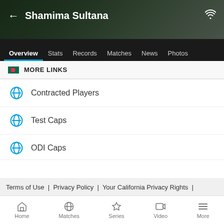Shamima Sultana
Overview  Stats  Records  Matches  News  Photos
MORE LINKS
Contracted Players
Test Caps
ODI Caps
T20I Caps
WODI Caps
WT20I Caps
Terms of Use | Privacy Policy | Your California Privacy Rights |
Home  Matches  Series  Video  More